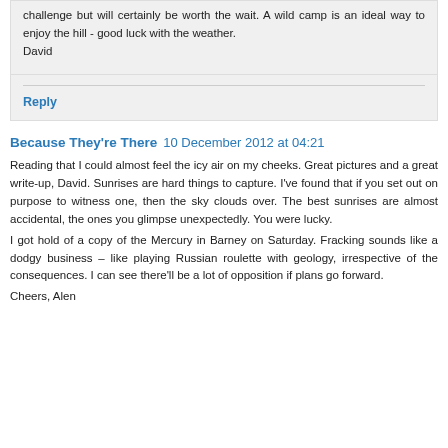challenge but will certainly be worth the wait. A wild camp is an ideal way to enjoy the hill - good luck with the weather.
David
Reply
Because They're There  10 December 2012 at 04:21
Reading that I could almost feel the icy air on my cheeks. Great pictures and a great write-up, David. Sunrises are hard things to capture. I've found that if you set out on purpose to witness one, then the sky clouds over. The best sunrises are almost accidental, the ones you glimpse unexpectedly. You were lucky.
I got hold of a copy of the Mercury in Barney on Saturday. Fracking sounds like a dodgy business – like playing Russian roulette with geology, irrespective of the consequences. I can see there'll be a lot of opposition if plans go forward.
Cheers, Alen